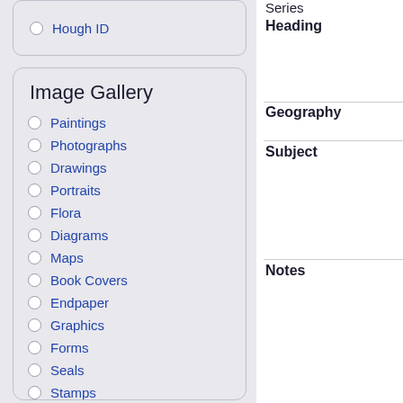Hough ID
Image Gallery
Paintings
Photographs
Drawings
Portraits
Flora
Diagrams
Maps
Book Covers
Endpaper
Graphics
Forms
Seals
Stamps
Clippings
Series
Heading
Geography
Subject
Notes